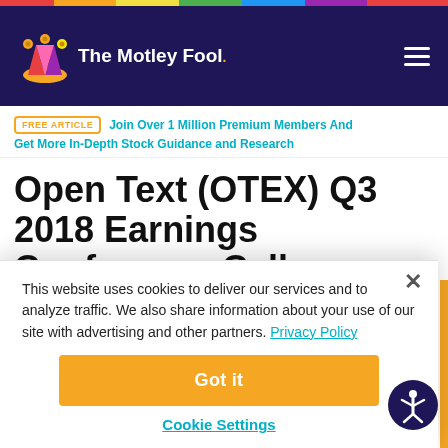The Motley Fool
FREE ARTICLE | Join Over 1 Million Premium Members And Get More In-Depth Stock Guidance and Research
Open Text (OTEX) Q3 2018 Earnings Conference Call Transcript
This website uses cookies to deliver our services and to analyze traffic. We also share information about your use of our site with advertising and other partners. Privacy Policy
Got it
Cookie Settings